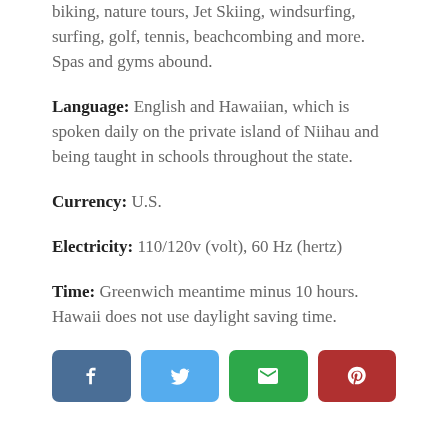kayaking, hiking, SUP, snorkeling, motor cycling, biking, nature tours, Jet Skiing, windsurfing, surfing, golf, tennis, beachcombing and more. Spas and gyms abound.
Language: English and Hawaiian, which is spoken daily on the private island of Niihau and being taught in schools throughout the state.
Currency: U.S.
Electricity: 110/120v (volt), 60 Hz (hertz)
Time: Greenwich meantime minus 10 hours. Hawaii does not use daylight saving time.
[Figure (other): Social share buttons: Facebook, Twitter, Email, Pinterest]